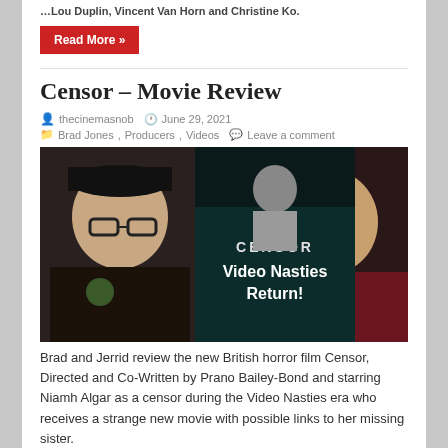…Lou Duplin, Vincent Van Horn and Christine Ko.
Read More »
Censor – Movie Review
thecinemasnob  June 29, 2021
Brad Jones , Producers , Videos   Leave a comment
[Figure (photo): Thumbnail image for Censor movie review video. Left: man with glasses and black cap in dark jacket. Center: dark movie poster for Censor with woman's face and text 'Video Nasties Return!'. Right: bald man in dark red shirt smiling.]
Brad and Jerrid review the new British horror film Censor, Directed and Co-Written by Prano Bailey-Bond and starring Niamh Algar as a censor during the Video Nasties era who receives a strange new movie with possible links to her missing sister.